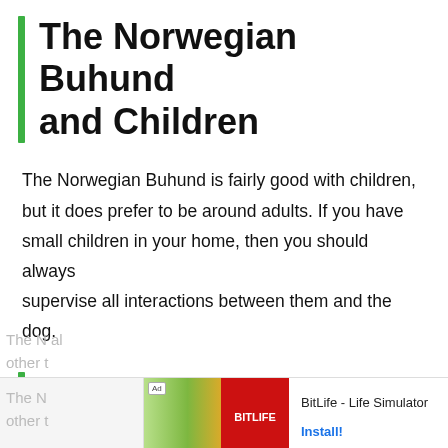The Norwegian Buhund and Children
The Norwegian Buhund is fairly good with children, but it does prefer to be around adults. If you have small children in your home, then you should always supervise all interactions between them and the dog.
Dogs Similar to the Norwegian Buhund
[Figure (other): Advertisement banner showing BitLife - Life Simulator app with install button]
The N...al other t...